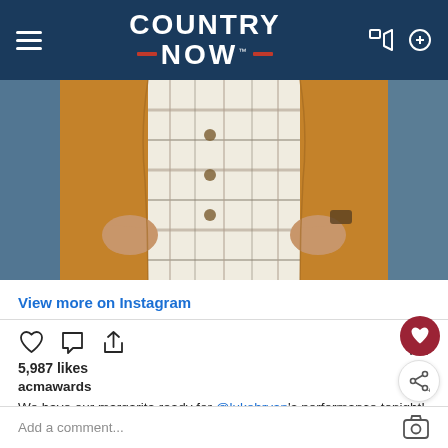COUNTRY NOW
[Figure (photo): Partial photo of a person wearing a tan/brown leather jacket over a plaid flannel shirt, hands holding jacket lapels, blue background]
View more on Instagram
5,987 likes
acmawards
We have our margarita ready for @lukebryan's performance tonight! 🍹🌮 #ACMawards
view all 39 comments
Add a comment...